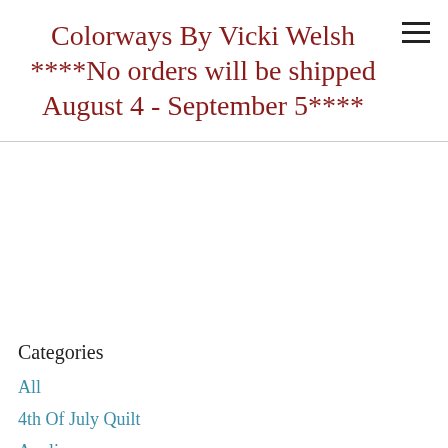Colorways By Vicki Welsh ****No orders will be shipped August 4 - September 5****
Categories
All
4th Of July Quilt
Applique
Art
Audiobooks
Bird Watching
Classes
Community Service
Contests
Crafts
Crochet
Customer Gallery